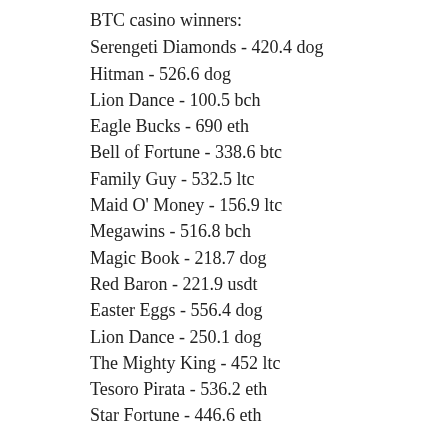BTC casino winners:
Serengeti Diamonds - 420.4 dog
Hitman - 526.6 dog
Lion Dance - 100.5 bch
Eagle Bucks - 690 eth
Bell of Fortune - 338.6 btc
Family Guy - 532.5 ltc
Maid O' Money - 156.9 ltc
Megawins - 516.8 bch
Magic Book - 218.7 dog
Red Baron - 221.9 usdt
Easter Eggs - 556.4 dog
Lion Dance - 250.1 dog
The Mighty King - 452 ltc
Tesoro Pirata - 536.2 eth
Star Fortune - 446.6 eth
Play Bitcoin slots:
Oshi Casino Ghost Pirates
King Billy Casino Purple Hot 2
Mars Casino Genie Wishes